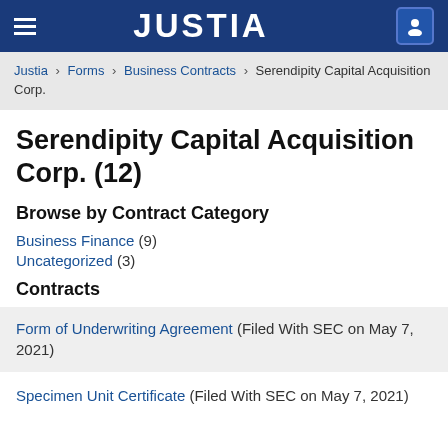JUSTIA
Justia › Forms › Business Contracts › Serendipity Capital Acquisition Corp.
Serendipity Capital Acquisition Corp. (12)
Browse by Contract Category
Business Finance (9)
Uncategorized (3)
Contracts
Form of Underwriting Agreement (Filed With SEC on May 7, 2021)
Specimen Unit Certificate (Filed With SEC on May 7, 2021)